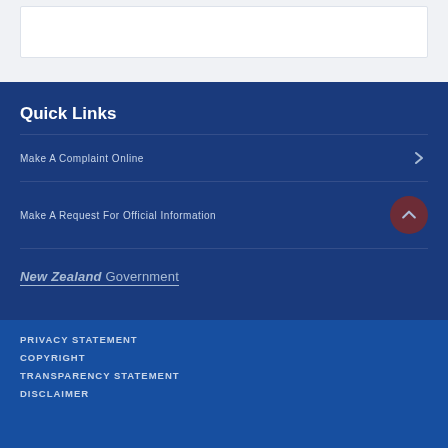Quick Links
Make A Complaint Online
Make A Request For Official Information
[Figure (logo): New Zealand Government logo with italic 'New Zealand' underlined and 'Government' text]
PRIVACY STATEMENT
COPYRIGHT
TRANSPARENCY STATEMENT
DISCLAIMER